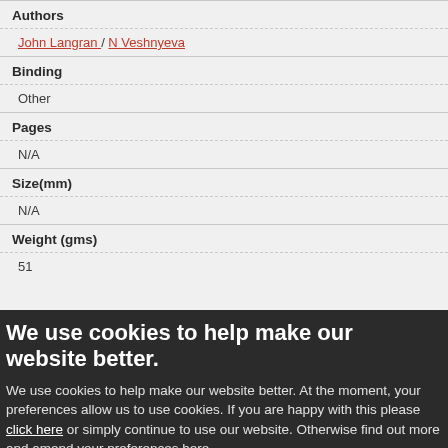Authors
John Langran / N Veshnyeva
Binding
Other
Pages
N/A
Size(mm)
N/A
Weight (gms)
51
We use cookies to help make our website better.
We use cookies to help make our website better. At the moment, your preferences allow us to use cookies. If you are happy with this please click here or simply continue to use our website. Otherwise find out more and amend your preferences here.